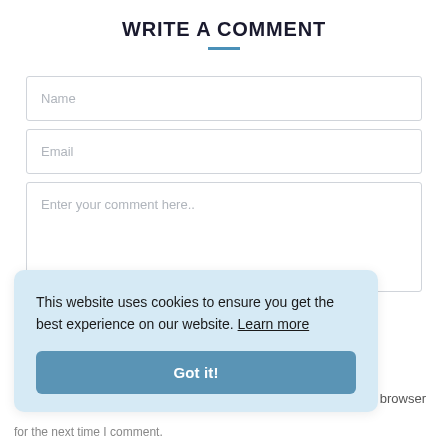WRITE A COMMENT
Name
Email
Enter your comment here..
This website uses cookies to ensure you get the best experience on our website. Learn more
Got it!
this browser
for the next time I comment.